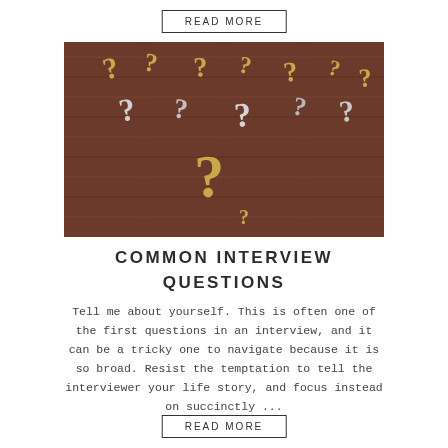READ MORE
[Figure (photo): Gold and silver metallic question mark symbols scattered on a wooden surface]
COMMON INTERVIEW QUESTIONS
Tell me about yourself. This is often one of the first questions in an interview, and it can be a tricky one to navigate because it is so broad. Resist the temptation to tell the interviewer your life story, and focus instead on succinctly ...
READ MORE